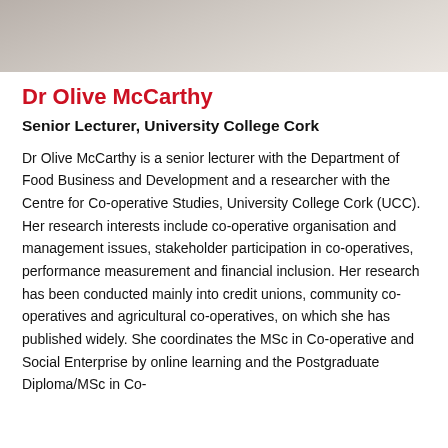[Figure (photo): Partial photograph of Dr Olive McCarthy at the top of the page]
Dr Olive McCarthy
Senior Lecturer, University College Cork
Dr Olive McCarthy is a senior lecturer with the Department of Food Business and Development and a researcher with the Centre for Co-operative Studies, University College Cork (UCC). Her research interests include co-operative organisation and management issues, stakeholder participation in co-operatives, performance measurement and financial inclusion. Her research has been conducted mainly into credit unions, community co-operatives and agricultural co-operatives, on which she has published widely. She coordinates the MSc in Co-operative and Social Enterprise by online learning and the Postgraduate Diploma/MSc in Co-